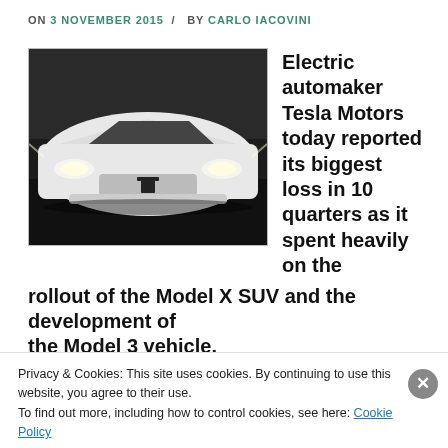ON 3 NOVEMBER 2015 / BY CARLO IACOVINI
[Figure (photo): Front view of a white Tesla Model X SUV car]
Electric automaker Tesla Motors today reported its biggest loss in 10 quarters as it spent heavily on the rollout of the Model X SUV and the development of the Model 3 vehicle.
Privacy & Cookies: This site uses cookies. By continuing to use this website, you agree to their use.
To find out more, including how to control cookies, see here: Cookie Policy
Close and accept